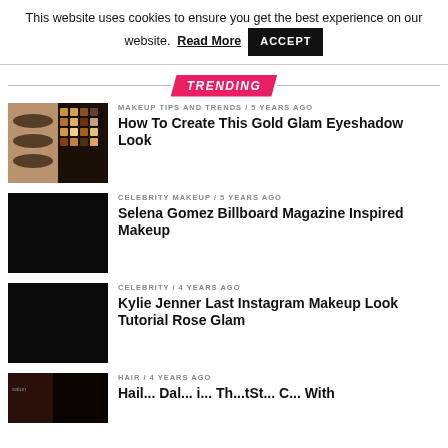This website uses cookies to ensure you get the best experience on our website. Read More ACCEPT
TRENDING
[Figure (photo): Eyeshadow palette with makeup swatches on eyelids]
MAKEUP TIPS AND TRENDS / 5 years ago
How To Create This Gold Glam Eyeshadow Look
[Figure (photo): Black thumbnail image]
CELEBRITY MAKEUP / 5 years ago
Selena Gomez Billboard Magazine Inspired Makeup
[Figure (photo): Black thumbnail image]
CELEBRITY / 4 years ago
Kylie Jenner Last Instagram Makeup Look Tutorial Rose Glam
[Figure (photo): Partial brown/dark thumbnail image]
HAIR / 4 years ago